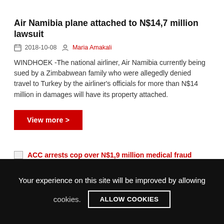Air Namibia plane attached to N$14,7 million lawsuit
2018-10-08  Maria Amakali
WINDHOEK -The national airliner, Air Namibia currently being sued by a Zimbabwean family who were allegedly denied travel to Turkey by the airliner's officials for more than N$14 million in damages will have its property attached.
View more >
ACC arrests cop over N$1,9 million medical fraud
Your experience on this site will be improved by allowing cookies.  ALLOW COOKIES